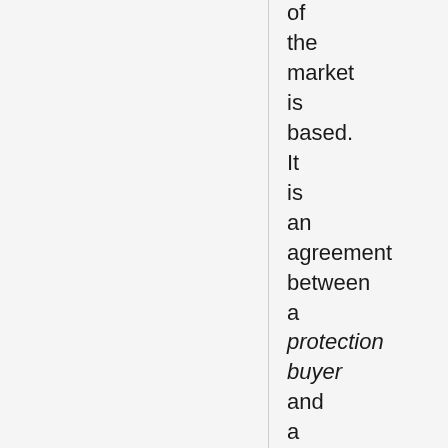of the market is based. It is an agreement between a protection buyer and a protection